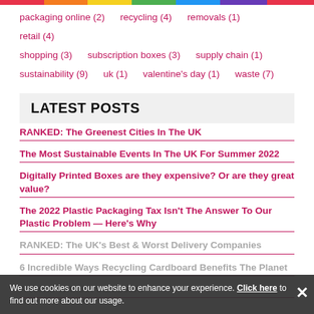packaging online (2)  recycling (4)  removals (1)  retail (4)
shopping (3)  subscription boxes (3)  supply chain (1)
sustainability (9)  uk (1)  valentine's day (1)  waste (7)
LATEST POSTS
RANKED: The Greenest Cities In The UK
The Most Sustainable Events In The UK For Summer 2022
Digitally Printed Boxes are they expensive? Or are they great value?
The 2022 Plastic Packaging Tax Isn't The Answer To Our Plastic Problem — Here's Why
RANKED: The UK's Best & Worst Delivery Companies
6 Incredible Ways Recycling Cardboard Benefits The Planet
A World Without Cardboard
We use cookies on our website to enhance your experience. Click here to find out more about our usage.